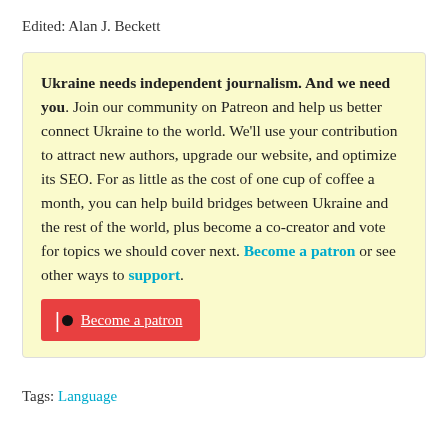Edited: Alan J. Beckett
Ukraine needs independent journalism. And we need you. Join our community on Patreon and help us better connect Ukraine to the world. We'll use your contribution to attract new authors, upgrade our website, and optimize its SEO. For as little as the cost of one cup of coffee a month, you can help build bridges between Ukraine and the rest of the world, plus become a co-creator and vote for topics we should cover next. Become a patron or see other ways to support.
Become a patron
Tags: Language